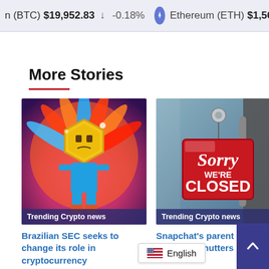n (BTC) $19,952.83 ↓ -0.18%   Ethereum (ETH) $1,568.85
More Stories
[Figure (photo): Colorful animated crypto character resembling an Aztec warrior with a hexagonal gold coin face, surrounded by feathers and colorful decorations. Badge reads: Trending Crypto news]
[Figure (photo): A red 'Sorry We're CLOSED' sign hanging on a glass door. Badge reads: Trending Crypto news]
Brazilian SEC seeks to change its role in cryptocurrency
Snapchat's parent company shutters
English